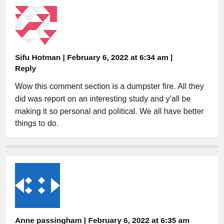[Figure (illustration): Pink/red geometric avatar icon for user Sifu Hotman]
Sifu Hotman | February 6, 2022 at 6:34 am | Reply
Wow this comment section is a dumpster fire. All they did was report on an interesting study and y’all be making it so personal and political. We all have better things to do.
[Figure (illustration): Blue geometric avatar icon for user Anne passingham]
Anne passingham | February 6, 2022 at 6:35 am | Reply